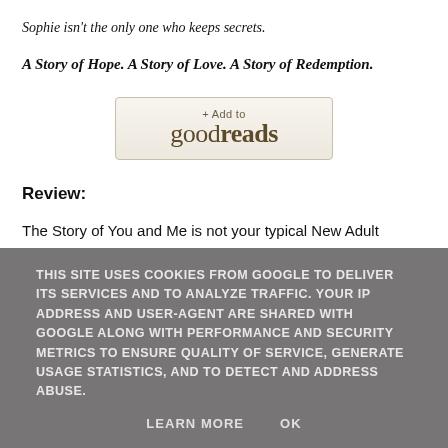Sophie isn't the only one who keeps secrets.
A Story of Hope. A Story of Love. A Story of Redemption.
[Figure (other): Goodreads 'Add to goodreads' button with beige/tan background and serif text]
Review:
The Story of You and Me is not your typical New Adult
THIS SITE USES COOKIES FROM GOOGLE TO DELIVER ITS SERVICES AND TO ANALYZE TRAFFIC. YOUR IP ADDRESS AND USER-AGENT ARE SHARED WITH GOOGLE ALONG WITH PERFORMANCE AND SECURITY METRICS TO ENSURE QUALITY OF SERVICE, GENERATE USAGE STATISTICS, AND TO DETECT AND ADDRESS ABUSE.
LEARN MORE    OK